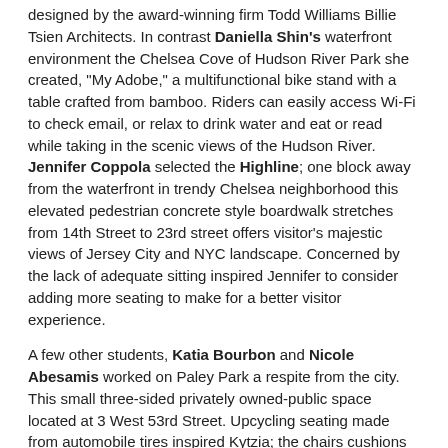designed by the award-winning firm Todd Williams Billie Tsien Architects. In contrast Daniella Shin's waterfront environment the Chelsea Cove of Hudson River Park she created, "My Adobe," a multifunctional bike stand with a table crafted from bamboo. Riders can easily access Wi-Fi to check email, or relax to drink water and eat or read while taking in the scenic views of the Hudson River. Jennifer Coppola selected the Highline; one block away from the waterfront in trendy Chelsea neighborhood this elevated pedestrian concrete style boardwalk stretches from 14th Street to 23rd street offers visitor's majestic views of Jersey City and NYC landscape. Concerned by the lack of adequate sitting inspired Jennifer to consider adding more seating to make for a better visitor experience.
A few other students, Katia Bourbon and Nicole Abesamis worked on Paley Park a respite from the city. This small three-sided privately owned-public space located at 3 West 53rd Street. Upcycling seating made from automobile tires inspired Kytzia; the chairs cushions are bright green grass, retrofitted with legs made from reclaimed wood. Nicole crafts anthropomorphic shaped rock seating meant to invigorate Paley Park with organic spatial design, as if designed by nature. Both students disliked the Bertoia wire mesh side chairs which reminded them too much of lunch hour scene from Mad Men television show. Yet, they kept the theme of the streaming waterfall muffling the hustle